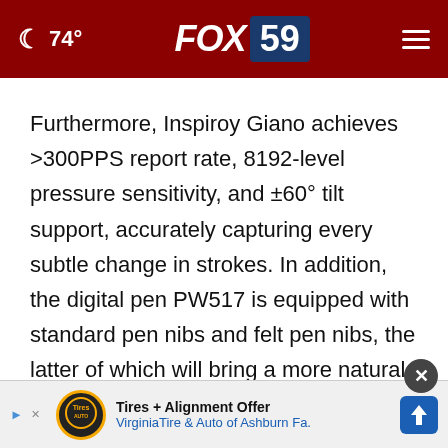🌙 74° FOX 59 ☰
Furthermore, Inspiroy Giano achieves >300PPS report rate, 8192-level pressure sensitivity, and ±60° tilt support, accurately capturing every subtle change in strokes. In addition, the digital pen PW517 is equipped with standard pen nibs and felt pen nibs, the latter of which will bring a more natural drawing experience as they can cause more friction between the paper-like surface of the grit textured panel and the pen tip.
[Figure (other): Advertisement banner: Tires + Alignment Offer - Virginia Tire & Auto of Ashburn Fa. with logo and navigation arrow icon. Includes a close (×) button overlay.]